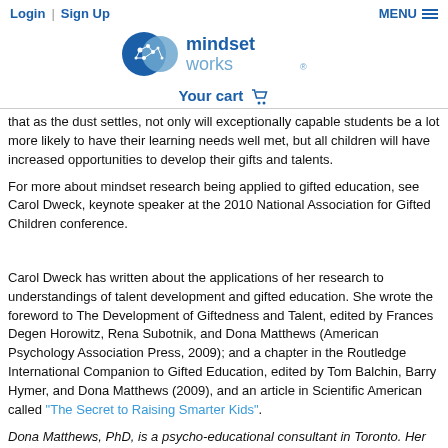Login | Sign Up    MENU
[Figure (logo): Mindset Works logo with brain icon and text 'mindset works']
Your cart
that as the dust settles, not only will exceptionally capable students be a lot more likely to have their learning needs well met, but all children will have increased opportunities to develop their gifts and talents.
For more about mindset research being applied to gifted education, see Carol Dweck, keynote speaker at the 2010 National Association for Gifted Children conference.
Carol Dweck has written about the applications of her research to understandings of talent development and gifted education. She wrote the foreword to The Development of Giftedness and Talent, edited by Frances Degen Horowitz, Rena Subotnik, and Dona Matthews (American Psychology Association Press, 2009); and a chapter in the Routledge International Companion to Gifted Education, edited by Tom Balchin, Barry Hymer, and Dona Matthews (2009), and an article in Scientific American called "The Secret to Raising Smarter Kids".
Dona Matthews, PhD, is a psycho-educational consultant in Toronto. Her practice